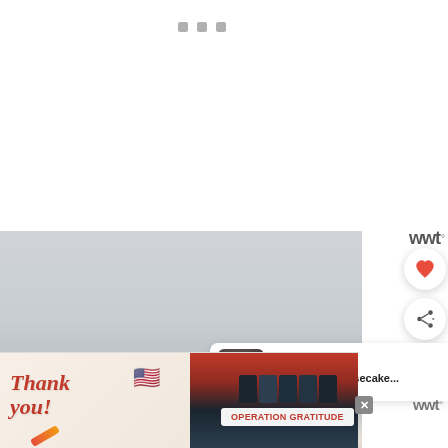[Figure (screenshot): Website interface showing top navigation area with three small square icons/dots centered near top, white background above]
[Figure (photo): Close-up photo of cheesecake slice with blueberries and red berry garnish on a grey surface background]
[Figure (screenshot): UI overlay elements: heart/favorite button (white circle with heart icon), share button (white circle with share icon), and 'What's Next' card showing thumbnail of Mint Oreo Cheesecake with arrow]
[Figure (screenshot): Advertisement banner at bottom: 'Thank you!' Operation Gratitude ad featuring firefighters, with close button (x)]